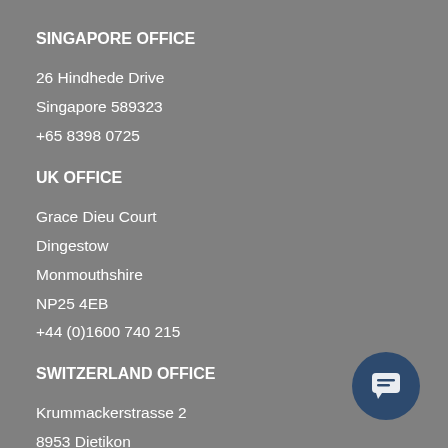SINGAPORE OFFICE
26 Hindhede Drive
Singapore 589323
+65 8398 0725
UK OFFICE
Grace Dieu Court
Dingestow
Monmouthshire
NP25 4EB
+44 (0)1600 740 215
SWITZERLAND OFFICE
Krummackerstrasse 2
8953 Dietikon